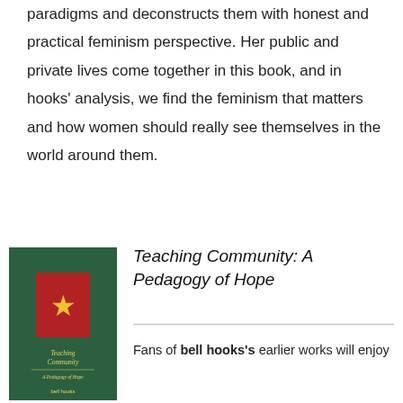paradigms and deconstructs them with honest and practical feminism perspective. Her public and private lives come together in this book, and in hooks' analysis, we find the feminism that matters and how women should really see themselves in the world around them.
[Figure (illustration): Book cover of 'Teaching Community: A Pedagogy of Hope' by bell hooks. Dark green cover with a red rectangle containing a gold star, and yellow title text.]
Teaching Community: A Pedagogy of Hope
Fans of bell hooks's earlier works will enjoy